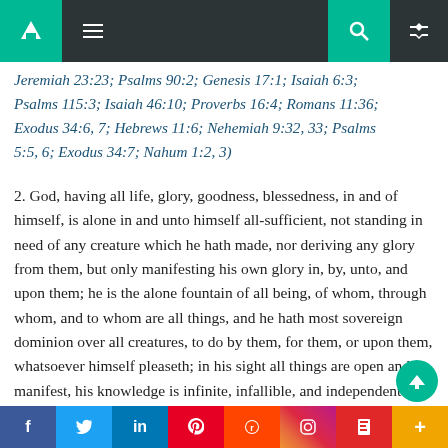Navigation bar with home, menu, search, and shuffle icons
Jeremiah 23:23; Psalms 90:2; Genesis 17:1; Isaiah 6:3; Psalms 115:3; Isaiah 46:10; Proverbs 16:4; Romans 11:36; Exodus 34:6, 7; Hebrews 11:6; Nehemiah 9:32, 33; Psalms 5:5, 6; Exodus 34:7; Nahum 1:2, 3)
2. God, having all life, glory, goodness, blessedness, in and of himself, is alone in and unto himself all-sufficient, not standing in need of any creature which he hath made, nor deriving any glory from them, but only manifesting his own glory in, by, unto, and upon them; he is the alone fountain of all being, of whom, through whom, and to whom are all things, and he hath most sovereign dominion over all creatures, to do by them, for them, or upon them, whatsoever himself pleaseth; in his sight all things are open and manifest, his knowledge is infinite, infallible, and independent upon the creature, so as nothing is to him
Social sharing bar: Facebook, Twitter, LinkedIn, Pinterest, Reddit, Instagram, Flipboard, More